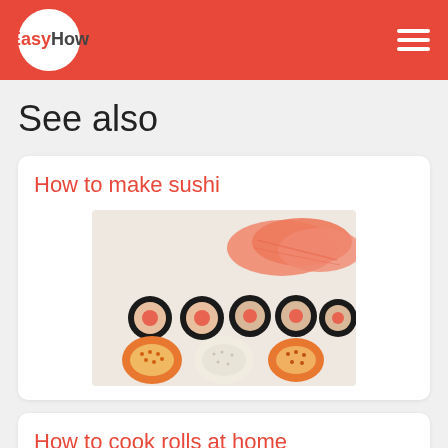Easy How
See also
How to make sushi
[Figure (photo): Close-up photo of assorted sushi rolls and salmon sashimi on a plate]
How to cook rolls at home
[Figure (photo): Close-up photo of sushi rolls with avocado and roe topping]